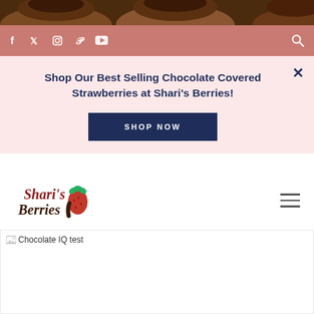[Figure (photo): Top strip showing chocolate covered strawberries]
Social media icons: facebook, twitter, instagram, pinterest, youtube, search
Shop Our Best Selling Chocolate Covered Strawberries at Shari's Berries!
SHOP NOW
[Figure (logo): Shari's Berries logo with strawberry icon]
[Figure (photo): Chocolate IQ test article image placeholder]